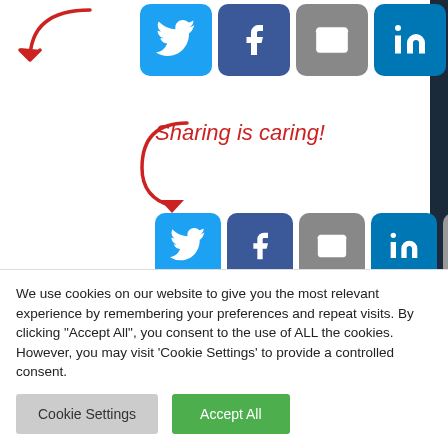[Figure (screenshot): Social share buttons row 1: Twitter, Facebook, Email, LinkedIn, Reddit, and a green share button]
Sharing is caring!
[Figure (screenshot): Social share buttons row 2: Twitter, Facebook, Email, LinkedIn, Reddit, and a green share button with red arrow decoration]
FILED UNDER: BITCOIN
TAGGED WITH: BITCOIN, DIAMONDS, MILLIONS, SILICON, VALLEY, WHALES
We use cookies on our website to give you the most relevant experience by remembering your preferences and repeat visits. By clicking "Accept All", you consent to the use of ALL the cookies. However, you may visit 'Cookie Settings' to provide a controlled consent.